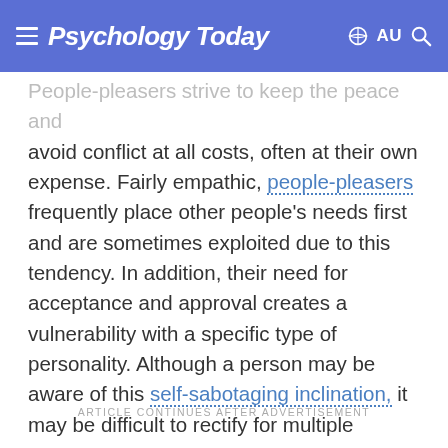Psychology Today  AU
People-pleasers strive to keep the peace and avoid conflict at all costs, often at their own expense. Fairly empathic, people-pleasers frequently place other people's needs first and are sometimes exploited due to this tendency. In addition, their need for acceptance and approval creates a vulnerability with a specific type of personality. Although a person may be aware of this self-sabotaging inclination, it may be difficult to rectify for multiple reasons.
ARTICLE CONTINUES AFTER ADVERTISEMENT